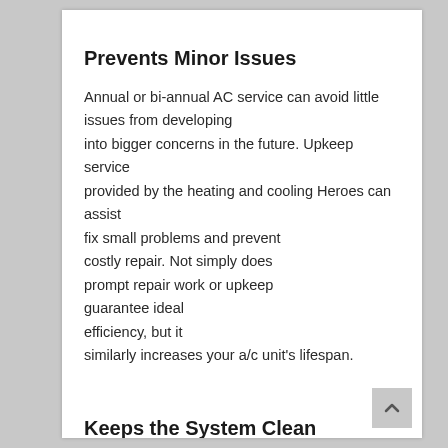Prevents Minor Issues
Annual or bi-annual AC service can avoid little issues from developing into bigger concerns in the future. Upkeep service provided by the heating and cooling Heroes can assist fix small problems and prevent costly repair. Not simply does prompt repair work or upkeep guarantee ideal efficiency, but it similarly increases your a/c unit’s lifespan.
Keeps the System Clean
Dirt, dust, and particles integrated into the air conditioning unit system can substantially impact